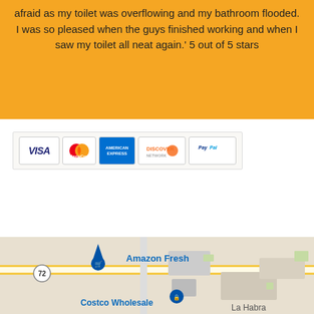afraid as my toilet was overflowing and my bathroom flooded. I was so pleased when the guys finished working and when I saw my toilet all neat again.' 5 out of 5 stars
[Figure (other): Payment method logos: VISA, MasterCard, American Express, Discover, PayPal]
Plumber Hawthorne
Locksmith Redwood City
Arlington Garage Doors Repair
Plumber Covina
[Figure (map): Google Maps showing Amazon Fresh, Costco Wholesale, and La Habra area with route 72 visible]